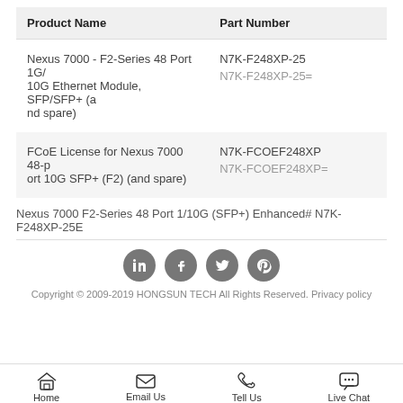| Product Name | Part Number |
| --- | --- |
| Nexus 7000 - F2-Series 48 Port 1G/10G Ethernet Module, SFP/SFP+ (and spare) | N7K-F248XP-25
N7K-F248XP-25= |
| FCoE License for Nexus 7000 48-port 10G SFP+ (F2) (and spare) | N7K-FCOEF248XP
N7K-FCOEF248XP= |
Nexus 7000 F2-Series 48 Port 1/10G (SFP+) Enhanced# N7K-F248XP-25E
[Figure (infographic): Social media icons: LinkedIn, Facebook, Twitter, Pinterest (grey circles)]
Copyright © 2009-2019 HONGSUN TECH All Rights Reserved. Privacy policy
Home | Email Us | Tell Us | Live Chat